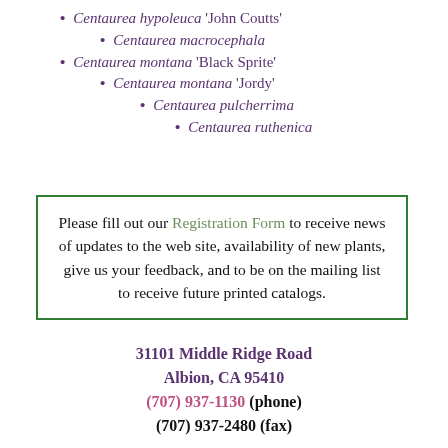Centaurea hypoleuca 'John Coutts'
Centaurea macrocephala
Centaurea montana 'Black Sprite'
Centaurea montana 'Jordy'
Centaurea pulcherrima
Centaurea ruthenica
Please fill out our Registration Form to receive news of updates to the web site, availability of new plants, give us your feedback, and to be on the mailing list to receive future printed catalogs.
31101 Middle Ridge Road
Albion, CA 95410
(707) 937-1130 (phone)
(707) 937-2480 (fax)